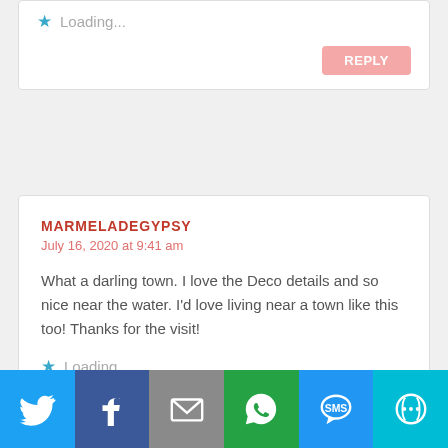★ Loading...
REPLY
MARMELADEGYPSY
July 16, 2020 at 9:41 am
What a darling town. I love the Deco details and so nice near the water. I'd love living near a town like this too! Thanks for the visit!
★ Loading...
REPLY